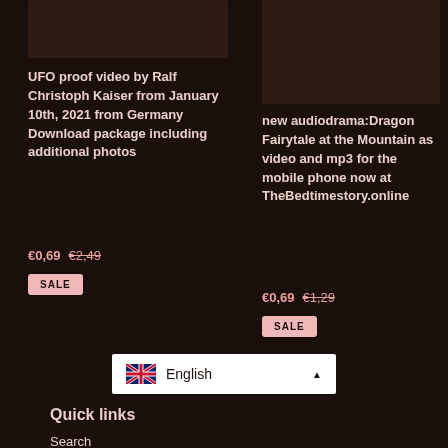[Figure (photo): Product thumbnail image placeholder dark brown rectangle - left product]
[Figure (photo): Product thumbnail image placeholder dark brown rectangle - right product]
UFO proof video by Ralf Christoph Kaiser from January 10th, 2021 from Germany Download package including additional photos
€0,69  €2,49
SALE
new audiodrama:Dragon Fairytale at the Mountain as video and mp3 for the mobile phone now at TheBedtimestory.online
€0,69  €1,29
SALE
[Figure (other): Language selector showing UK flag and English text with dropdown arrow]
Quick links
Search